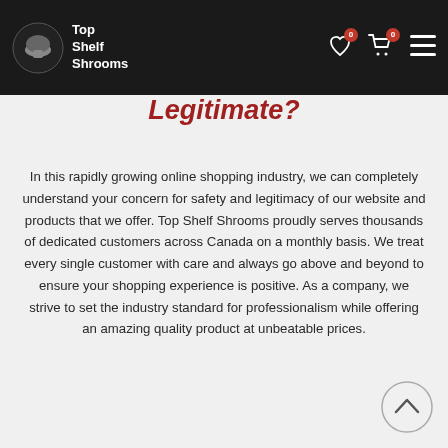Top Shelf Shrooms — navigation bar with logo, wishlist, cart, and menu icons
Is Top Shelf Shrooms Legitimate?
In this rapidly growing online shopping industry, we can completely understand your concern for safety and legitimacy of our website and products that we offer. Top Shelf Shrooms proudly serves thousands of dedicated customers across Canada on a monthly basis. We treat every single customer with care and always go above and beyond to ensure your shopping experience is positive. As a company, we strive to set the industry standard for professionalism while offering an amazing quality product at unbeatable prices.